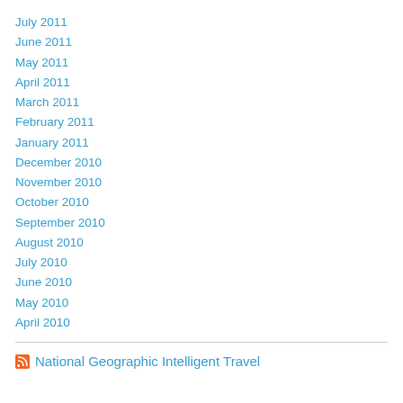July 2011
June 2011
May 2011
April 2011
March 2011
February 2011
January 2011
December 2010
November 2010
October 2010
September 2010
August 2010
July 2010
June 2010
May 2010
April 2010
National Geographic Intelligent Travel